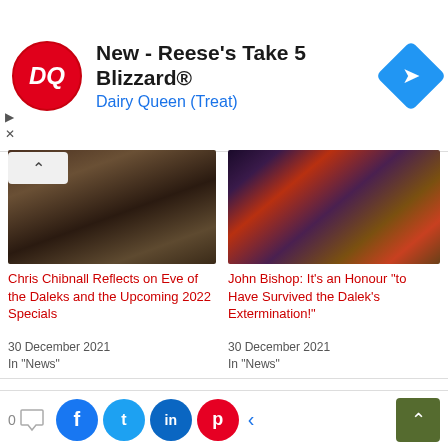[Figure (screenshot): Dairy Queen advertisement banner with DQ logo, text 'New - Reese's Take 5 Blizzard®' and 'Dairy Queen (Treat)', navigation icon]
[Figure (photo): Photo of a Dalek from Doctor Who, dark robotic figure]
Chris Chibnall Reflects on Eve of the Daleks and the Upcoming 2022 Specials
30 December 2021
In "News"
[Figure (photo): Photo of Daleks with colorful costume elements from Doctor Who]
John Bishop: It's an Honour "to Have Survived the Dalek's Extermination!"
30 December 2021
In "News"
We use cookies on our website to give you the most relevant experience by remembering your preferences and repeat visits. By clicking “Accept”, you consent to the use of ALL the cookies.
Do not sell my personal information.
[Figure (screenshot): Cookie Settings and Accept buttons at bottom of cookie consent overlay, plus social sharing bar with Facebook, Twitter, LinkedIn, Pinterest buttons]